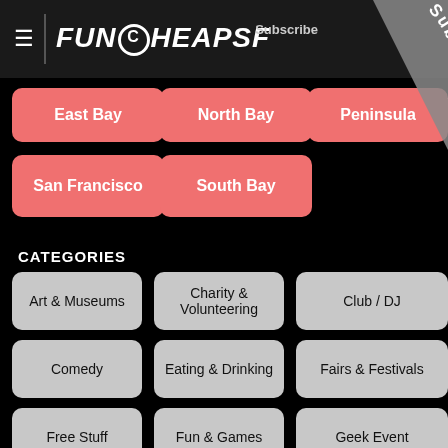FunCheapSF — Subscribe
East Bay
North Bay
Peninsula
San Francisco
South Bay
CATEGORIES
Art & Museums
Charity & Volunteering
Club / DJ
Comedy
Eating & Drinking
Fairs & Festivals
Free Stuff
Fun & Games
Geek Event
Kids & Families
Lectures & Workshops
Lite...
Live Music
Movies
Shop & Fashion